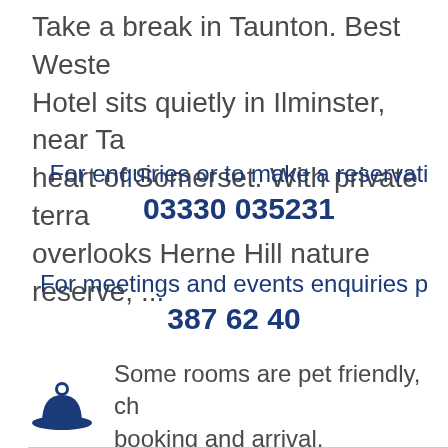Take a break in Taunton. Best Western Hotel sits quietly in Ilminster, near Taunton, heart of Somerset. With private terrace that overlooks Herne Hill nature reserve, ...
For enquiries or to make a reservation call 03330 035231
For meetings and events enquiries p... 387 62 40
Some rooms are pet friendly, ch... booking and arrival.